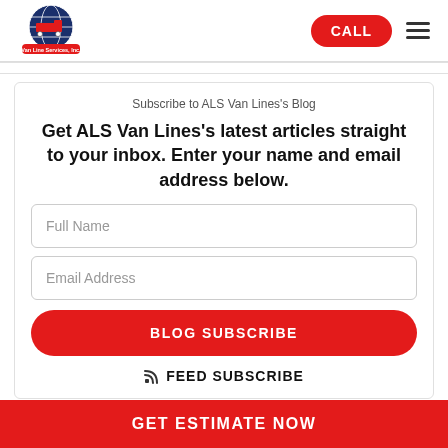[Figure (logo): ALS Van Line Services Inc. logo with globe and vehicle imagery]
CALL
Subscribe to ALS Van Lines's Blog
Get ALS Van Lines's latest articles straight to your inbox. Enter your name and email address below.
Full Name
Email Address
BLOG SUBSCRIBE
FEED SUBSCRIBE
GET ESTIMATE NOW